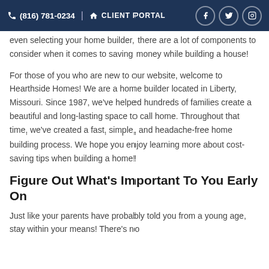(816) 781-0234  CLIENT PORTAL
even selecting your home builder, there are a lot of components to consider when it comes to saving money while building a house!
For those of you who are new to our website, welcome to Hearthside Homes! We are a home builder located in Liberty, Missouri. Since 1987, we've helped hundreds of families create a beautiful and long-lasting space to call home. Throughout that time, we've created a fast, simple, and headache-free home building process. We hope you enjoy learning more about cost-saving tips when building a home!
Figure Out What's Important To You Early On
Just like your parents have probably told you from a young age, stay within your means! There's no